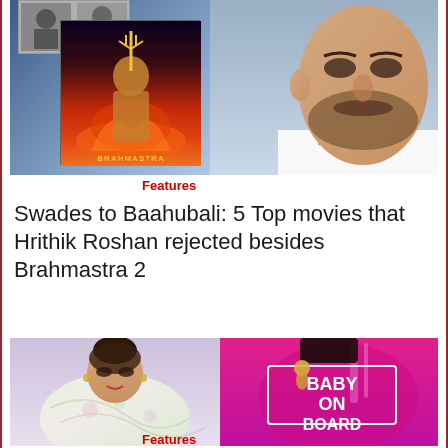[Figure (photo): Composite image: left side shows Brahmastra movie poster collage on blue background, right side shows Hrithik Roshan's face/profile in white shirt]
Features
Swades to Baahubali: 5 Top movies that Hrithik Roshan rejected besides Brahmastra 2
[Figure (photo): Left: woman in floral saree on lavender background; Right: person in bright pink outfit with 'BABY ON BOARD' text on back]
Features